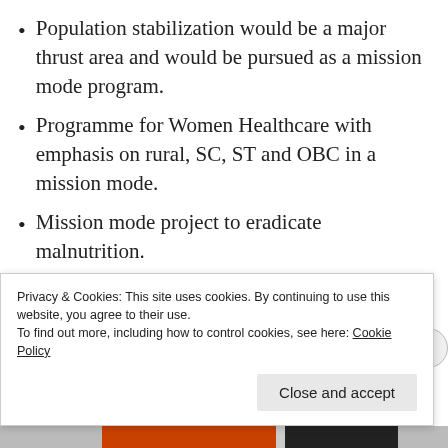Population stabilization would be a major thrust area and would be pursued as a mission mode program.
Programme for Women Healthcare with emphasis on rural, SC, ST and OBC in a mission mode.
Mission mode project to eradicate malnutrition.
Launch National Mosquito Control mission.
Privacy & Cookies: This site uses cookies. By continuing to use this website, you agree to their use.
To find out more, including how to control cookies, see here: Cookie Policy